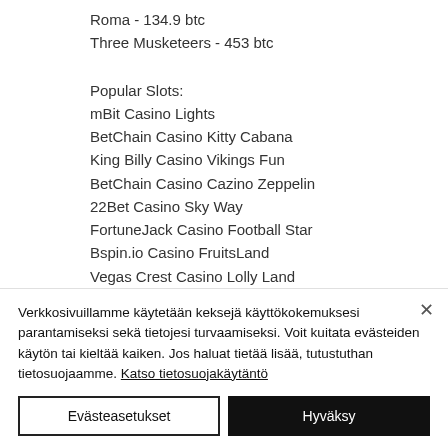Roma - 134.9 btc
Three Musketeers - 453 btc
Popular Slots:
mBit Casino Lights
BetChain Casino Kitty Cabana
King Billy Casino Vikings Fun
BetChain Casino Cazino Zeppelin
22Bet Casino Sky Way
FortuneJack Casino Football Star
Bspin.io Casino FruitsLand
Vegas Crest Casino Lolly Land
Verkkosivuillamme käytetään keksejä käyttökokemuksesi parantamiseksi sekä tietojesi turvaamiseksi. Voit kuitata evästeiden käytön tai kieltää kaiken. Jos haluat tietää lisää, tutustuthan tietosuojaamme. Katso tietosuojakäytäntö
Evästeasetukset
Hyväksy